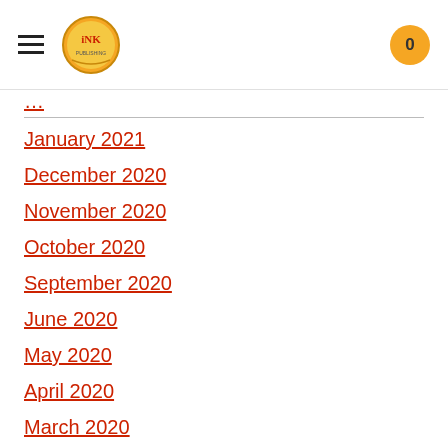INK logo, hamburger menu, cart badge: 0
January 2021
December 2020
November 2020
October 2020
September 2020
June 2020
May 2020
April 2020
March 2020
February 2020
January 2020
December 2019
October 2019
September 2019